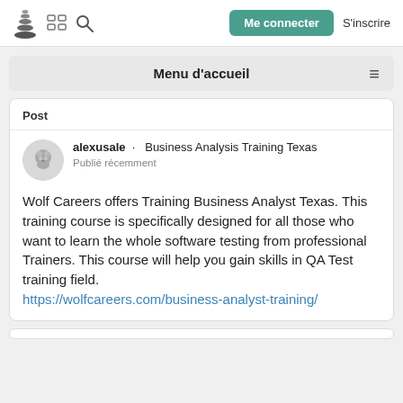Me connecter  S'inscrire
Menu d'accueil
Post
alexusale  ·  Business Analysis Training Texas
Publié récemment
Wolf Careers offers Training Business Analyst Texas. This training course is specifically designed for all those who want to learn the whole software testing from professional Trainers. This course will help you gain skills in QA Test training field.
https://wolfcareers.com/business-analyst-training/